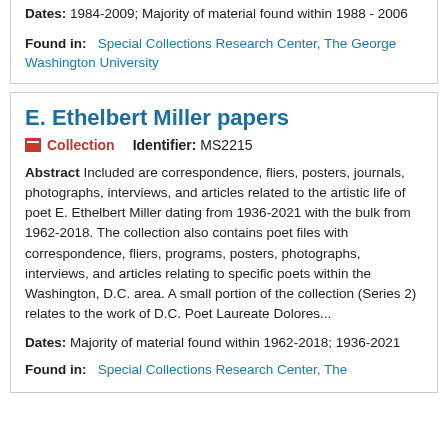Dates: 1984-2009; Majority of material found within 1988 - 2006
Found in: Special Collections Research Center, The George Washington University
E. Ethelbert Miller papers
Collection   Identifier: MS2215
Abstract Included are correspondence, fliers, posters, journals, photographs, interviews, and articles related to the artistic life of poet E. Ethelbert Miller dating from 1936-2021 with the bulk from 1962-2018. The collection also contains poet files with correspondence, fliers, programs, posters, photographs, interviews, and articles relating to specific poets within the Washington, D.C. area. A small portion of the collection (Series 2) relates to the work of D.C. Poet Laureate Dolores...
Dates: Majority of material found within 1962-2018; 1936-2021
Found in: Special Collections Research Center, The